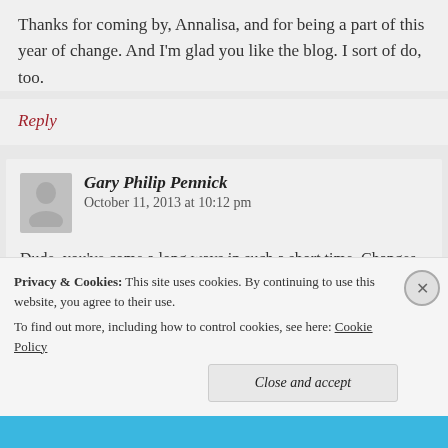Thanks for coming by, Annalisa, and for being a part of this year of change. And I'm glad you like the blog. I sort of do, too.
Reply
Gary Philip Pennick  October 11, 2013 at 10:12 pm
Dude, you've come a long ways in such a short time. Changes and redirections. And thus, Michael, I salute you,
Privacy & Cookies: This site uses cookies. By continuing to use this website, you agree to their use. To find out more, including how to control cookies, see here: Cookie Policy
Close and accept